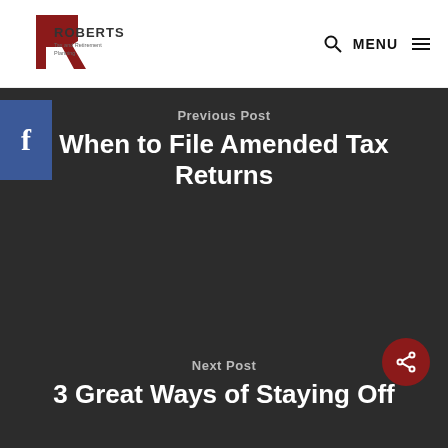Roberts Tax and Retirement Planning — MENU
[Figure (logo): Roberts Tax and Retirement Planning logo with stylized R in dark red]
f
Previous Post
When to File Amended Tax Returns
Next Post
3 Great Ways of Staying Off